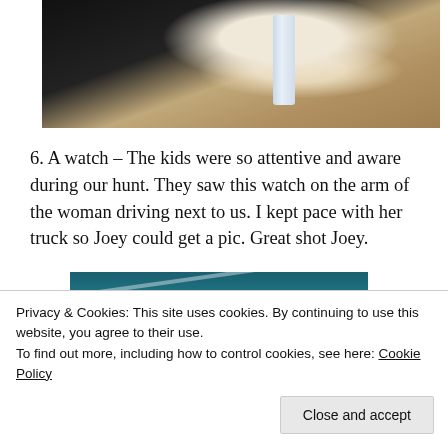[Figure (photo): Close-up photo of what appears to be an animal (pig or similar) with a white tube/cylinder object visible, dark background]
6. A watch – The kids were so attentive and aware during our hunt. They saw this watch on the arm of the woman driving next to us. I kept pace with her truck so Joey could get a pic. Great shot Joey.
[Figure (photo): Partial photo showing a teal/dark blue background, appears to be a watch or wrist photo]
Privacy & Cookies: This site uses cookies. By continuing to use this website, you agree to their use.
To find out more, including how to control cookies, see here: Cookie Policy
Close and accept